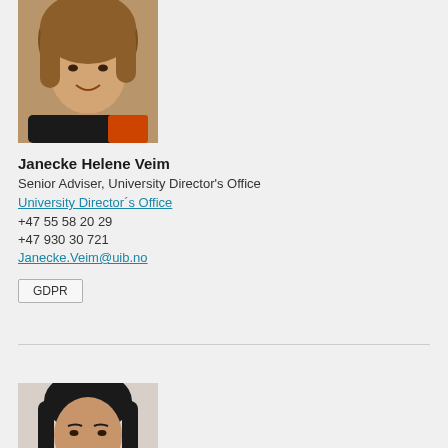[Figure (photo): Portrait photo of Janecke Helene Veim, a woman with brown hair, smiling, wearing a dark top]
Janecke Helene Veim
Senior Adviser, University Director's Office
University Director´s Office
+47 55 58 20 29
+47 930 30 721
Janecke.Veim@uib.no
GDPR
[Figure (photo): Portrait photo of a woman with dark hair, partially visible, cropped at bottom of page]